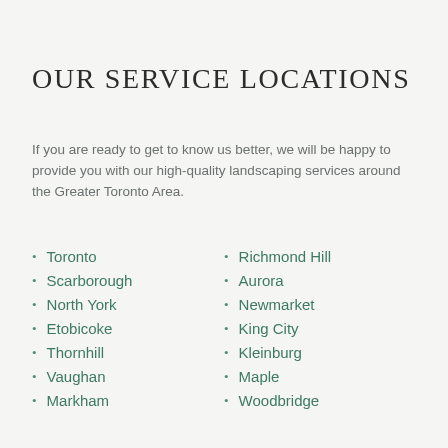OUR SERVICE LOCATIONS
If you are ready to get to know us better, we will be happy to provide you with our high-quality landscaping services around the Greater Toronto Area.
Toronto
Scarborough
North York
Etobicoke
Thornhill
Vaughan
Markham
Richmond Hill
Aurora
Newmarket
King City
Kleinburg
Maple
Woodbridge